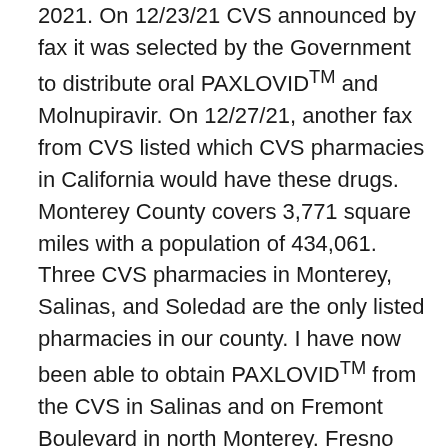2021. On 12/23/21 CVS announced by fax it was selected by the Government to distribute oral PAXLOVID™ and Molnupiravir. On 12/27/21, another fax from CVS listed which CVS pharmacies in California would have these drugs. Monterey County covers 3,771 square miles with a population of 434,061. Three CVS pharmacies in Monterey, Salinas, and Soledad are the only listed pharmacies in our county. I have now been able to obtain PAXLOVID™ from the CVS in Salinas and on Fremont Boulevard in north Monterey. Fresno County covers 6,011 square miles with a population of 999,101. Four CVS pharmacies in Fresno County are the only listed pharmacies. We obtained PAXLOVID™ from the Salinas CVS pharmacy and the north Monterey pharmacy and successfully treated ten patients in the last six weeks. We have also treated two patients with Molnupiravir due to our inability at that time to obtain PAXLOVID™. Molnupiravir